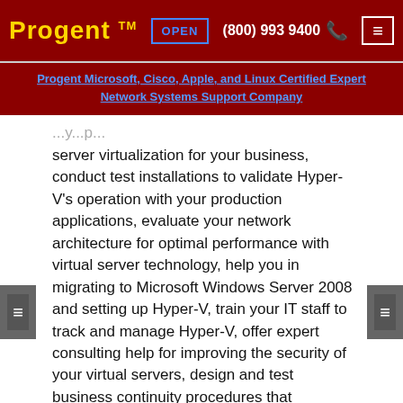Progent™  OPEN  (800) 993 9400  ☎  ☰
Progent Microsoft, Cisco, Apple, and Linux Certified Expert Network Systems Support Company
server virtualization for your business, conduct test installations to validate Hyper-V's operation with your production applications, evaluate your network architecture for optimal performance with virtual server technology, help you in migrating to Microsoft Windows Server 2008 and setting up Hyper-V, train your IT staff to track and manage Hyper-V, offer expert consulting help for improving the security of your virtual servers, design and test business continuity procedures that maximize system availability, and deliver continuing consulting and technical support including low-cost online repair and turn-key Help Desk services.